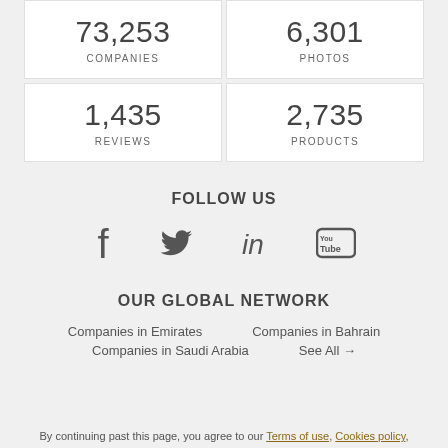73,253 COMPANIES
6,301 PHOTOS
1,435 REVIEWS
2,735 PRODUCTS
FOLLOW US
[Figure (infographic): Social media icons: Facebook, Twitter, LinkedIn, YouTube]
OUR GLOBAL NETWORK
Companies in Emirates   Companies in Bahrain   Companies in Saudi Arabia   See All →
By continuing past this page, you agree to our Terms of use, Cookies policy,